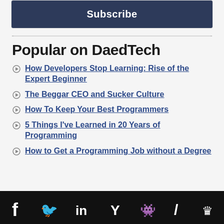Subscribe
Popular on DaedTech
How Developers Stop Learning: Rise of the Expert Beginner
The Beggar CEO and Sucker Culture
How To Keep Your Best Programmers
5 Things I've Learned in 20 Years of Programming
How to Get a Programming Job without a Degree
Social sharing icons: Facebook, Twitter, LinkedIn, Hacker News, Reddit, Pinboard, Crown